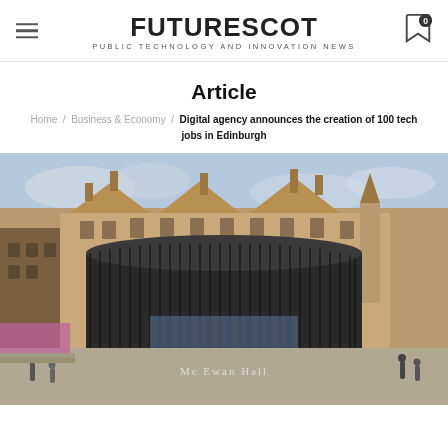FUTURESCOT — PUBLIC TECHNOLOGY AND INNOVATION NEWS
Article
Home / Business & Economy / Digital agency announces the creation of 100 tech jobs in Edinburgh
[Figure (photo): Photograph of McEwan Hall in Edinburgh, showing a modern dark cylindrical building facade in front of traditional Scottish sandstone buildings under a cloudy sky, with pedestrians on the street.]